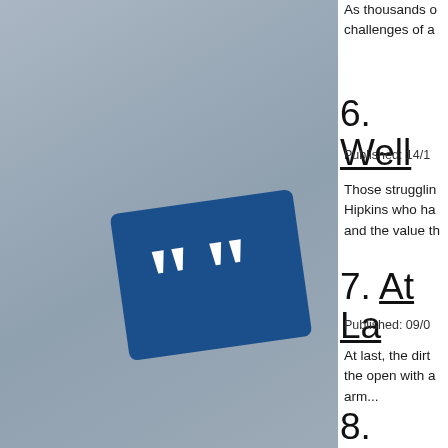[Figure (illustration): Gray gradient background with a blue square icon containing white quotation marks, tilted slightly]
As thousands of challenges of a
6. Well
Published: 14/1
Those struggling Hipkins who ha and the value th
7. At La
Published: 09/0
At last, the dirt the open with a arm...
8. Covi Lockdo
Published: 06/0